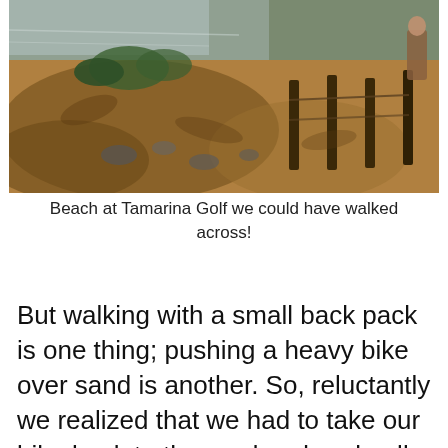[Figure (photo): A beach scene at Tamarina Golf showing sandy terrain, rocks, sparse vegetation, wooden fence posts, a body of water in the background, and a person visible on the right side.]
Beach at Tamarina Golf we could have walked across!
But walking with a small back pack is one thing; pushing a heavy bike over sand is another. So, reluctantly we realized that we had to take our bike back to the road and cycle all the way back! Another hour of cycling and we were home, ready to put our feet up with another beer. What a